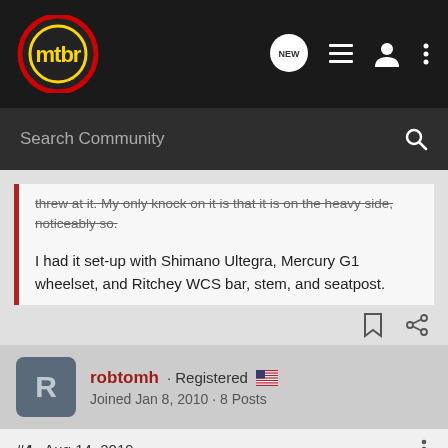mtbr — navigation bar with logo and icons
Search Community
threw at it. My only knock on it is that it is on the heavy side, noticeably so.
I had it set-up with Shimano Ultegra, Mercury G1 wheelset, and Ritchey WCS bar, stem, and seatpost.
robtomh · Registered
Joined Jan 8, 2010 · 8 Posts
#4 · Aug 14, 2019
Definitely frame/fork heft. I would always notice the heft when loading mine and various buddies's bikes on to racks but it was